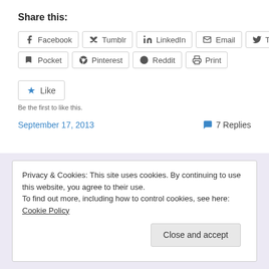Share this:
Facebook Tumblr LinkedIn Email Twitter Pocket Pinterest Reddit Print
Like
Be the first to like this.
September 17, 2013   7 Replies
Privacy & Cookies: This site uses cookies. By continuing to use this website, you agree to their use. To find out more, including how to control cookies, see here: Cookie Policy
Close and accept